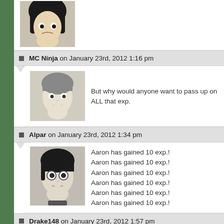[Figure (illustration): Partially visible manga-style avatar at the top of the page]
MC Ninja on January 23rd, 2012 1:16 pm
[Figure (illustration): Manga-style avatar for MC Ninja comment]
But why would anyone want to pass up on ALL that exp.
Alpar on January 23rd, 2012 1:34 pm
[Figure (illustration): Manga-style avatar for Alpar comment]
Aaron has gained 10 exp.!
Aaron has gained 10 exp.!
Aaron has gained 10 exp.!
Aaron has gained 10 exp.!
Aaron has gained 10 exp.!
Aaron has gained 10 exp.!
Drake148 on January 23rd, 2012 1:57 pm
[Figure (illustration): Manga-style avatar for Drake148 comment]
and 6 speed Ev…. lets battle the guy again with the vs seek will aceppt a rematch.
Alpar on January 23rd, 2012 1:34 pm